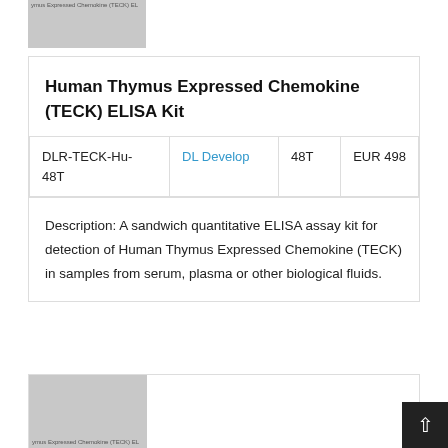[Figure (photo): Gray placeholder image for Human Thymus Expressed Chemokine (TECK) ELISA Kit product thumbnail, top]
Human Thymus Expressed Chemokine (TECK) ELISA Kit
| DLR-TECK-Hu-48T | DL Develop | 48T | EUR 498 |
Description: A sandwich quantitative ELISA assay kit for detection of Human Thymus Expressed Chemokine (TECK) in samples from serum, plasma or other biological fluids.
[Figure (photo): Gray placeholder image for Human Thymus Expressed Chemokine (TECK) ELISA Kit product thumbnail, bottom]